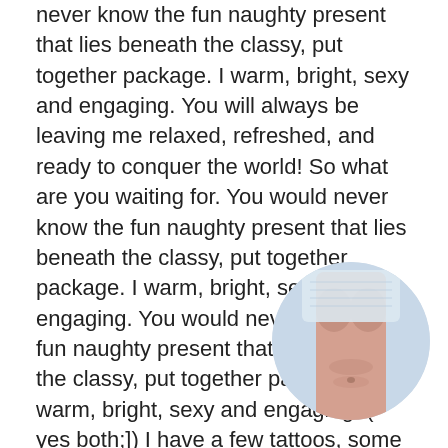never know the fun naughty present that lies beneath the classy, put together package. I warm, bright, sexy and engaging. You will always be leaving me relaxed, refreshed, and ready to conquer the world! So what are you waiting for. You would never know the fun naughty present that lies beneath the classy, put together package. I warm, bright, sexy and engaging. You would never know the fun naughty present that lies beneath the classy, put together package. I warm, bright, sexy and engaging. ( yes both;]) I have a few tattoos, some would call my look alternative, but only when in very little to no clothing. I am a 5' 7', 116 lbs, small perky natural breasts with quite the incredible deri... any say it is shocking how curvy it is compar... slim physique. blonde hair and soft supp... open minded seems to have that effect o... together should be indulgent, savored, ano... Really, it comes down to your philosophy. In public I am
[Figure (photo): Circular cropped photo of a woman's torso/midsection, partially obscured, positioned in lower right of page]